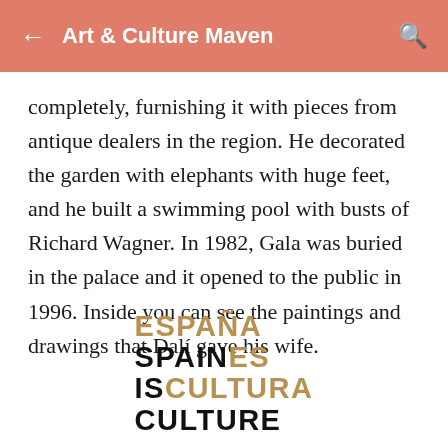← Art & Culture Maven 🔍
completely, furnishing it with pieces from antique dealers in the region. He decorated the garden with elephants with huge feet, and he built a swimming pool with busts of Richard Wagner. In 1982, Gala was buried in the palace and it opened to the public in 1996. Inside you can see the paintings and drawings that Dalí gave his wife.
[Figure (logo): España Spain ES / IS Cultura Culture logo — stacked lines with alternating black and gold text]